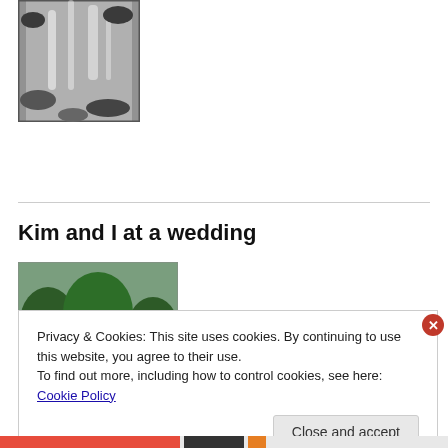[Figure (photo): Waterfall photo thumbnail showing rushing water over rocks in black and white]
Kim and I at a wedding
[Figure (photo): Photo of two people (Kim and the author) posing together at a wedding, outdoors with trees and a building in the background]
Privacy & Cookies: This site uses cookies. By continuing to use this website, you agree to their use.
To find out more, including how to control cookies, see here: Cookie Policy
Close and accept